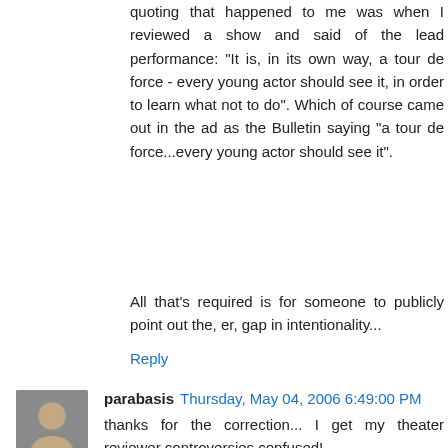quoting that happened to me was when I reviewed a show and said of the lead performance: "It is, in its own way, a tour de force - every young actor should see it, in order to learn what not to do". Which of course came out in the ad as the Bulletin saying "a tour de force...every young actor should see it".
All that's required is for someone to publicly point out the, er, gap in intentionality...
Reply
parabasis  Thursday, May 04, 2006 6:49:00 PM
thanks for the correction... I get my theater reviewer controversies confused!
My favorite ever pull-quoting story was from the New Yorker review of the film SPEED. After trashing the movie at length, the reviewer (I forget if it was Lane, Denby or someone else) ended it with a sarcastic "It's the best movie of the year"... only to find said quote splashed across an NYTimes ad the next day.